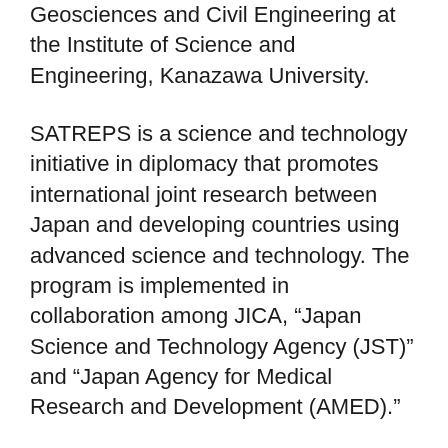Geosciences and Civil Engineering at the Institute of Science and Engineering, Kanazawa University.
SATREPS is a science and technology initiative in diplomacy that promotes international joint research between Japan and developing countries using advanced science and technology. The program is implemented in collaboration among JICA, “Japan Science and Technology Agency (JST)” and “Japan Agency for Medical Research and Development (AMED).”
SATREPS aims at acquiring new knowledge, which may help address